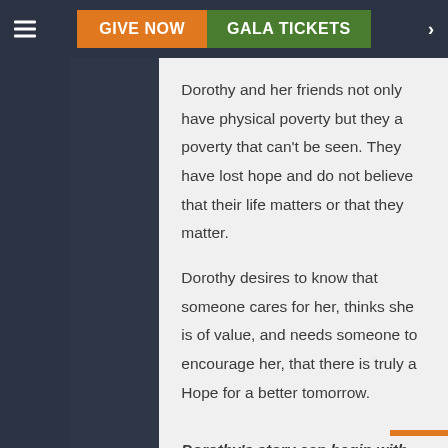GIVE NOW | GALA TICKETS
Dorothy and her friends not only have physical poverty but they a poverty that can't be seen. They have lost hope and do not believe that their life matters or that they matter.
Dorothy desires to know that someone cares for her, thinks she is of value, and needs someone to encourage her, that there is truly a Hope for a better tomorrow.
Dorothy's story can begin with